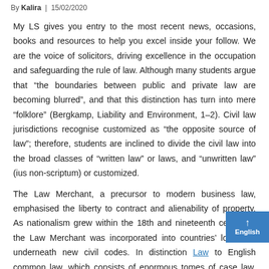By Kalira | 15/02/2020
My LS gives you entry to the most recent news, occasions, books and resources to help you excel inside your follow. We are the voice of solicitors, driving excellence in the occupation and safeguarding the rule of law. Although many students argue that “the boundaries between public and private law are becoming blurred”, and that this distinction has turn into mere “folklore” (Bergkamp, Liability and Environment, 1–2). Civil law jurisdictions recognise customized as “the opposite source of law”; therefore, students are inclined to divide the civil law into the broad classes of “written law” or laws, and “unwritten law” (ius non-scriptum) or customized.
The Law Merchant, a precursor to modern business law, emphasised the liberty to contract and alienability of property. As nationalism grew within the 18th and nineteenth centuries, the Law Merchant was incorporated into countries’ local law underneath new civil codes. In distinction Law to English common law, which consists of enormous tomes of case law, codes in small books are simple to export and easy for judges